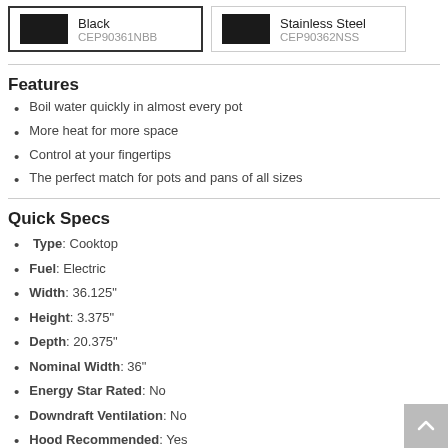[Figure (other): Product color swatch card for Black variant, model CEP90361NBB, shown with dark rectangular swatch and outlined border]
[Figure (other): Product color swatch card for Stainless Steel variant, model CEP90362NSS, shown with dark rectangular swatch and light border]
Features
Boil water quickly in almost every pot
More heat for more space
Control at your fingertips
The perfect match for pots and pans of all sizes
Quick Specs
Type: Cooktop
Fuel: Electric
Width: 36.125"
Height: 3.375"
Depth: 20.375"
Nominal Width: 36"
Energy Star Rated: No
Downdraft Ventilation: No
Hood Recommended: Yes
Induction: No
Type: Smoothtop